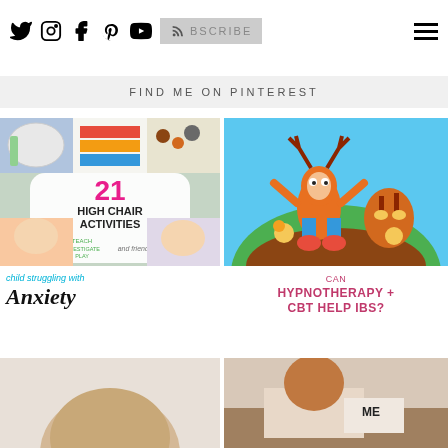Social icons: Twitter, Instagram, Facebook, Pinterest, YouTube, RSS / SUBSCRIBE | Hamburger menu
FIND ME ON PINTEREST
[Figure (photo): Collage of 21 High Chair Activities from Teach Investigate Play and friends]
[Figure (photo): Colorful fondant cake shaped like Crash Bandicoot characters on a circular cake]
child struggling with Anxiety
CAN HYPNOTHERAPY + CBT HELP IBS?
[Figure (photo): Back of a child's head with blonde hair]
[Figure (photo): Person at a desk with a sign reading ME]